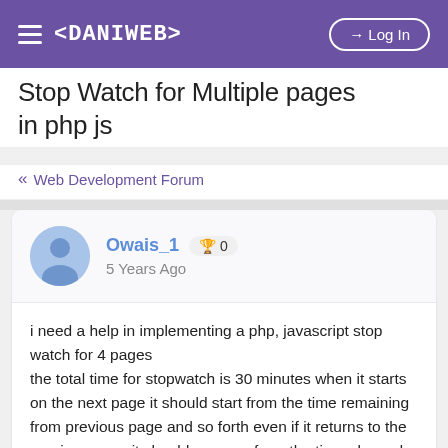< DANIWEB >  Log In
Stop Watch for Multiple pages in php js
« Web Development Forum
Owais_1  🏆 0
5 Years Ago
i need a help in implementing a php, javascript stop watch for 4 pages
the total time for stopwatch is 30 minutes when it starts on the next page it should start from the time remaining from previous page and so forth even if it returns to the previous page it should carry on from the time elapsed . At the moment my stopwatch is not linked to other pages it get started from 0 not from the previous page time please help thanks in advance